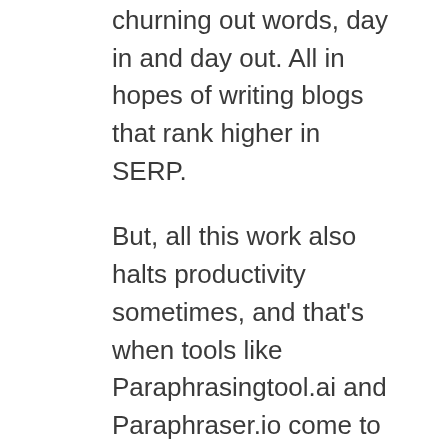churning out words, day in and day out. All in hopes of writing blogs that rank higher in SERP.
But, all this work also halts productivity sometimes, and that's when tools like Paraphrasingtool.ai and Paraphraser.io come to the rescue. So, which one of them does it better?
Moreover, what is it that these tools even provide? In order to understand just that, let's dive in deeper and see their difference and review their various offerings.
What is Paraphraser.io?
Paraphraser.io is an AI-based paraphrasing tool that offers you a remarkable array of